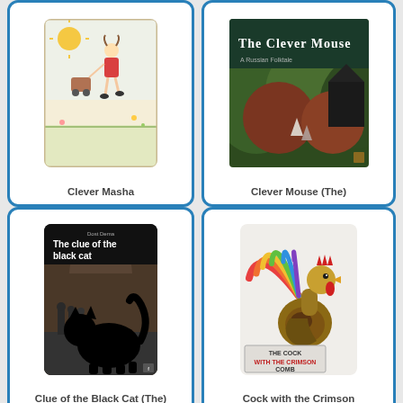[Figure (illustration): Book cover for 'Clever Masha' showing a child's drawing of a girl running with a cart and sun]
Clever Masha
[Figure (illustration): Book cover for 'Clever Mouse (The)' showing a dark landscape with small figures and white text]
Clever Mouse (The)
[Figure (illustration): Book cover for 'Clue of the Black Cat (The)' showing a large black cat silhouette against people on a street]
Clue of the Black Cat (The)
[Figure (illustration): Book cover for 'Cock with the Crimson Comb' showing a colorful rooster illustration]
Cock with the Crimson